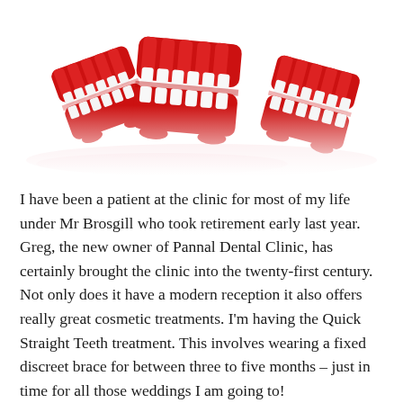[Figure (photo): Cluster of red and white novelty wind-up chattering teeth toys on a white background with slight pink shadows]
I have been a patient at the clinic for most of my life under Mr Brosgill who took retirement early last year. Greg, the new owner of Pannal Dental Clinic, has certainly brought the clinic into the twenty-first century. Not only does it have a modern reception it also offers really great cosmetic treatments. I'm having the Quick Straight Teeth treatment. This involves wearing a fixed discreet brace for between three to five months – just in time for all those weddings I am going to!